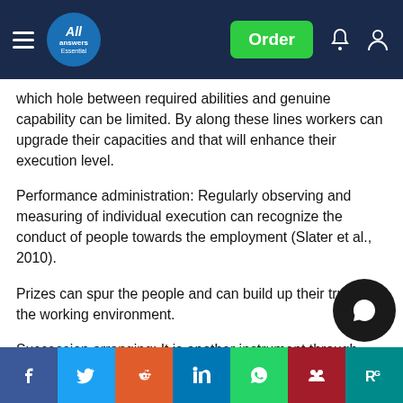All Answers — navigation bar with Order button
which hole between required abilities and genuine capability can be limited. By along these lines workers can upgrade their capacities and that will enhance their execution level.
Performance administration: Regularly observing and measuring of individual execution can recognize the conduct of people towards the employment (Slater et al., 2010).
Prizes can spur the people and can build up their trust in the working environment.
Succession arranging: It is another instrument through which substances can enhance their execution. That measures the seat quality so firms can finish their shared objective.
Social share buttons: Facebook, Twitter, Reddit, LinkedIn, WhatsApp, Mendeley, ResearchGate